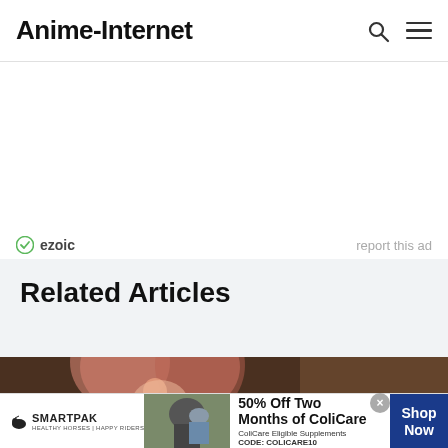Anime-Internet
[Figure (screenshot): Ezoic ad placeholder area with ezoic logo and 'report this ad' link]
Related Articles
[Figure (photo): Anime character with pink/red spiky hair — article thumbnail]
[Figure (screenshot): SmartPak advertisement banner: '50% Off Two Months of ColiCare, ColiCare Eligible Supplements CODE: COLICARE10', with Shop Now button]